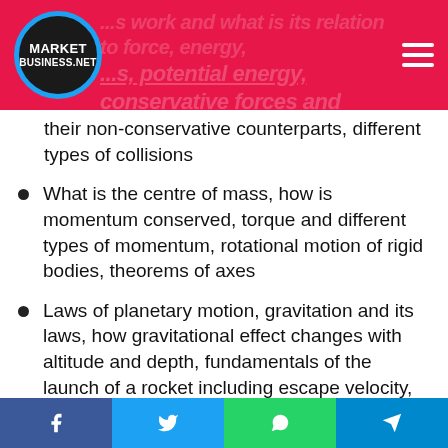marketbusiness.net
their non-conservative counterparts, different types of collisions
What is the centre of mass, how is momentum conserved, torque and different types of momentum, rotational motion of rigid bodies, theorems of axes
Laws of planetary motion, gravitation and its laws, how gravitational effect changes with altitude and depth, fundamentals of the launch of a rocket including escape velocity, satellites and their various types
Behaviours of different types of matter, laws on stress and strain, elastic energy and its properties, surface tension and its properties, expansion of
Facebook | Twitter | WhatsApp | Telegram